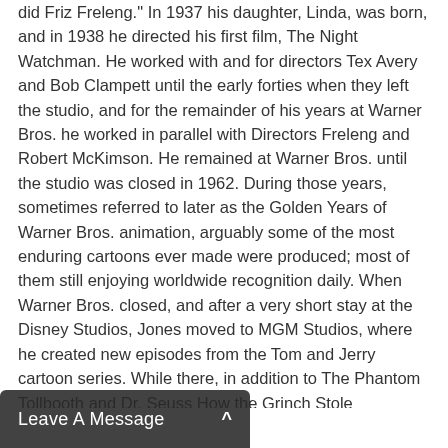did Friz Freleng." In 1937 his daughter, Linda, was born, and in 1938 he directed his first film, The Night Watchman. He worked with and for directors Tex Avery and Bob Clampett until the early forties when they left the studio, and for the remainder of his years at Warner Bros. he worked in parallel with Directors Freleng and Robert McKimson. He remained at Warner Bros. until the studio was closed in 1962. During those years, sometimes referred to later as the Golden Years of Warner Bros. animation, arguably some of the most enduring cartoons ever made were produced; most of them still enjoying worldwide recognition daily. When Warner Bros. closed, and after a very short stay at the Disney Studios, Jones moved to MGM Studios, where he created new episodes from the Tom and Jerry cartoon series. While there, in addition to The Phantom Tollbooth and Dr. Seuss How the Grinch Stole Christmas, Jones directed the Academy Award winning film, The Dot and the Line. Jones established his own production company, Chuck Jones Enterprises, in 1962 and produced nine half-hour animation films for television including Rudyard Kipling s Rikki Tikki Tavi and The White Seal. After the death of his first wife, Jones met and married the love of his life, Marian Dern, who remained his best friend, lover and companion for the rest of his life. In the late 70s Jones and his daughter, Linda, pioneered a continuing art business featuring limited edition images created by Jones depicting scenes from his most enduring cartoons. He continued to support his daughter s business, generously making appearances, drawings and paintings, in addition to signing countless editions of images, which ...d fans worldwide. One of his films, the ...era, Doc? was inducted into the ...among the most culturally
[Figure (other): Dark overlay bar at the bottom left of the page with white text reading 'Leave A Message' and a caret symbol '^']